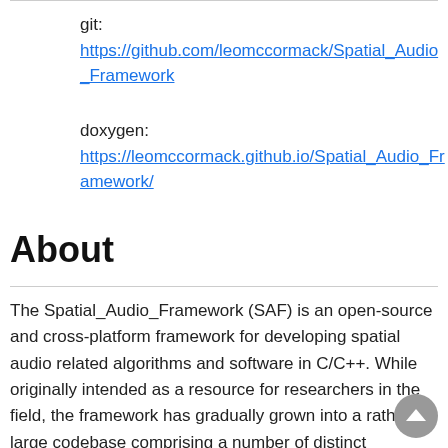git: https://github.com/leomccormack/Spatial_Audio_Framework
doxygen: https://leomccormack.github.io/Spatial_Audio_Framework/
About
The Spatial_Audio_Framework (SAF) is an open-source and cross-platform framework for developing spatial audio related algorithms and software in C/C++. While originally intended as a resource for researchers in the field, the framework has gradually grown into a rather large codebase comprising a number of distinct modules; with each module targeting a specific sub-field of spatial audio (e.g.